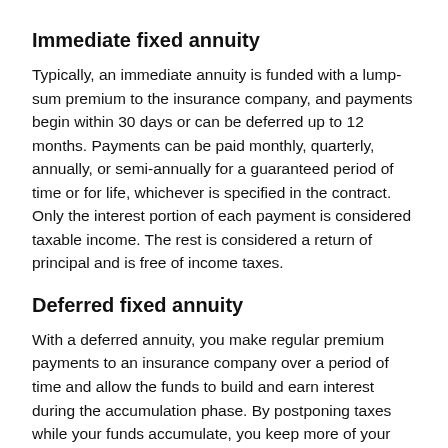Immediate fixed annuity
Typically, an immediate annuity is funded with a lump-sum premium to the insurance company, and payments begin within 30 days or can be deferred up to 12 months. Payments can be paid monthly, quarterly, annually, or semi-annually for a guaranteed period of time or for life, whichever is specified in the contract. Only the interest portion of each payment is considered taxable income. The rest is considered a return of principal and is free of income taxes.
Deferred fixed annuity
With a deferred annuity, you make regular premium payments to an insurance company over a period of time and allow the funds to build and earn interest during the accumulation phase. By postponing taxes while your funds accumulate, you keep more of your money working and growing for you instead of paying current taxes. This means an annuity may help you accumulate more over the